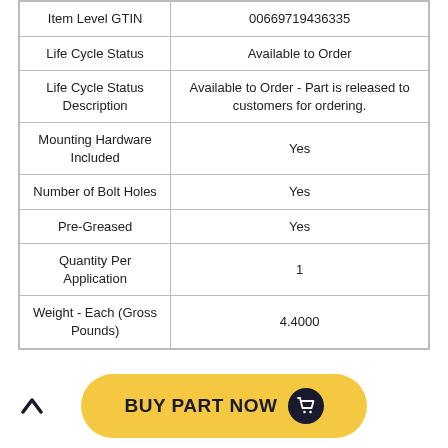| Property | Value |
| --- | --- |
| Item Level GTIN | 00669719436335 |
| Life Cycle Status | Available to Order |
| Life Cycle Status Description | Available to Order - Part is released to customers for ordering. |
| Mounting Hardware Included | Yes |
| Number of Bolt Holes | Yes |
| Pre-Greased | Yes |
| Quantity Per Application | 1 |
| Weight - Each (Gross Pounds) | 4.4000 |
[Figure (other): Yellow rounded 'BUY PART NOW' button with dark navy cart icon on the right, and a navy chevron-up arrow on the left side of the page]